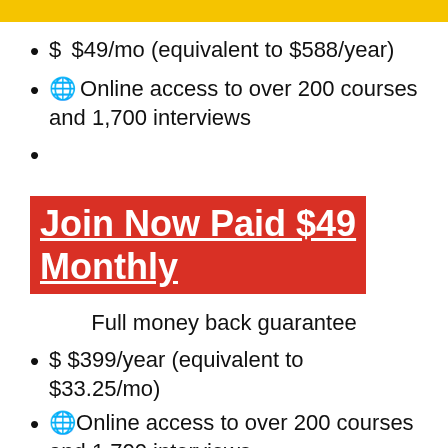$ $49/mo (equivalent to $588/year)
🌐 Online access to over 200 courses and 1,700 interviews
Join Now Paid $49 Monthly
Full money back guarantee
$ $399/year (equivalent to $33.25/mo)
🌐 Online access to over 200 courses and 1,700 interviews
⬇ Download interviews and